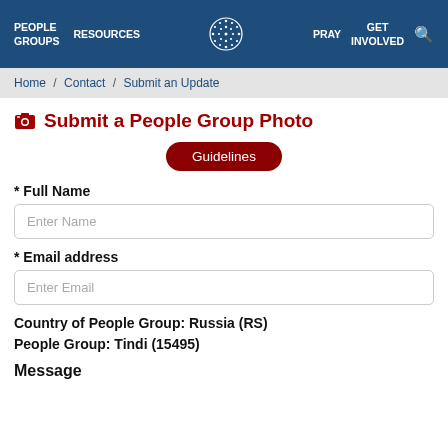PEOPLE GROUPS   RESOURCES   PRAY   GET INVOLVED
Home / Contact / Submit an Update
Submit a People Group Photo
Guidelines
* Full Name
Enter Name
* Email address
Enter Email
Country of People Group:  Russia (RS)
People Group:  Tindi (15495)
Message